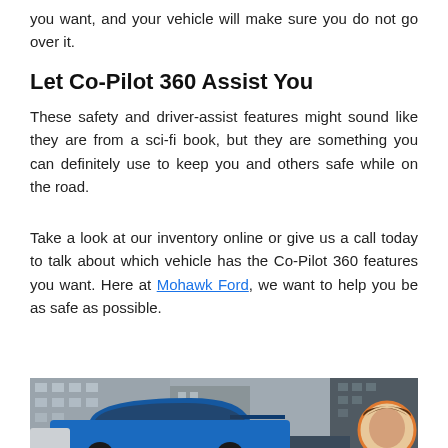you want, and your vehicle will make sure you do not go over it.
Let Co-Pilot 360 Assist You
These safety and driver-assist features might sound like they are from a sci-fi book, but they are something you can definitely use to keep you and others safe while on the road.
Take a look at our inventory online or give us a call today to talk about which vehicle has the Co-Pilot 360 features you want. Here at Mohawk Ford, we want to help you be as safe as possible.
[Figure (photo): Blue SUV parked in an urban setting with buildings in the background; circular avatar of a woman in the bottom right corner]